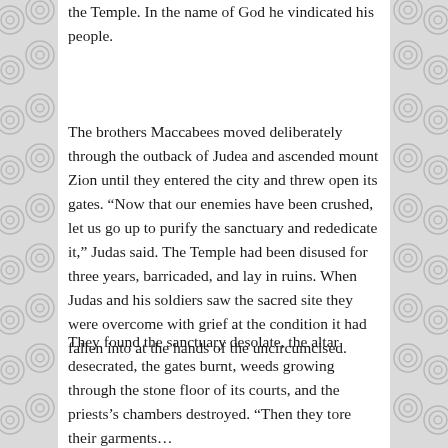the Temple. In the name of God he vindicated his people.
The brothers Maccabees moved deliberately through the outback of Judea and ascended mount Zion until they entered the city and threw open its gates. “Now that our enemies have been crushed, let us go up to purify the sanctuary and rededicate it,” Judas said. The Temple had been disused for three years, barricaded, and lay in ruins. When Judas and his soldiers saw the sacred site they were overcome with grief at the condition it had fallen into at the hands of the uncircumcised.
They found the sanctuary desolate, the altar desecrated, the gates burnt, weeds growing through the stone floor of its courts, and the priests’s chambers destroyed. “Then they tore their garments...